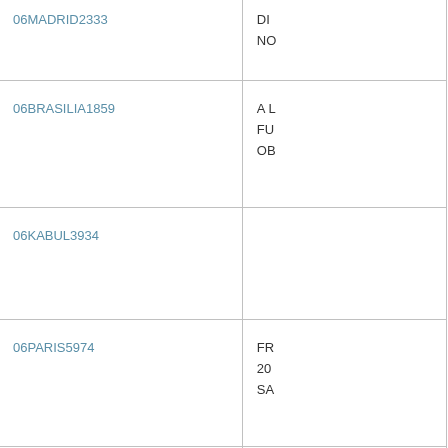| Cable ID | Description |
| --- | --- |
| 06MADRID2333 | DI
NO |
| 06BRASILIA1859 | A L
FU
OB |
| 06KABUL3934 |  |
| 06PARIS5974 | FR
20
SA |
| 06PARIS5975 | IN
SA
HI |
| 06DUBLIN1020 | EM
CO
U.S
TR |